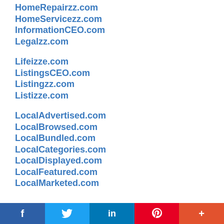HomeRepairzz.com
HomeServicezz.com
InformationCEO.com
Legalzz.com
Lifeizze.com
ListingsCEO.com
Listingzz.com
Listizze.com
LocalAdvertised.com
LocalBrowsed.com
LocalBundled.com
LocalCategories.com
LocalDisplayed.com
LocalFeatured.com
LocalMarketed.com